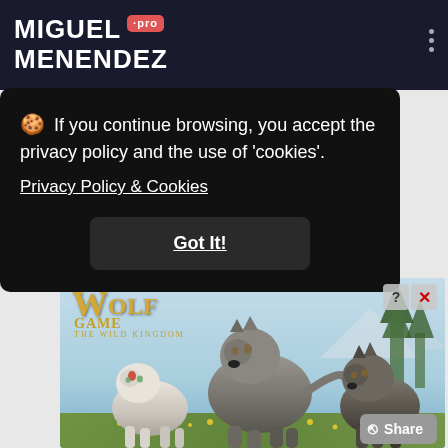MIGUEL MENENDEZ .pro
If you continue browsing, you accept the privacy policy and the use of 'cookies'. Privacy Policy & Cookies
Got It!
[Figure (screenshot): Wolf Game - The Wild Kingdom advertisement showing three realistic CGI wolves (white wolf, grey wolf, brown wolf) standing in a meadow with mountain background. Wolf Game logo in gold text top left. Close/info buttons top right.]